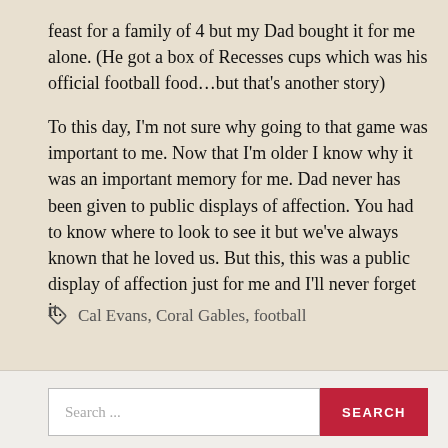feast for a family of 4 but my Dad bought it for me alone. (He got a box of Recesses cups which was his official football food…but that's another story)
To this day, I'm not sure why going to that game was important to me. Now that I'm older I know why it was an important memory for me. Dad never has been given to public displays of affection. You had to know where to look to see it but we've always known that he loved us. But this, this was a public display of affection just for me and I'll never forget it.
Cal Evans, Coral Gables, football
Search ...